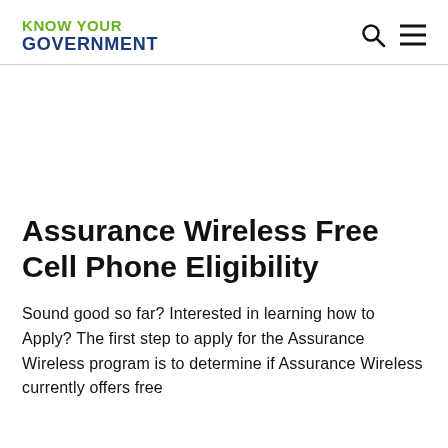KNOW YOUR GOVERNMENT
Assurance Wireless Free Cell Phone Eligibility
Sound good so far? Interested in learning how to Apply? The first step to apply for the Assurance Wireless program is to determine if Assurance Wireless currently offers free